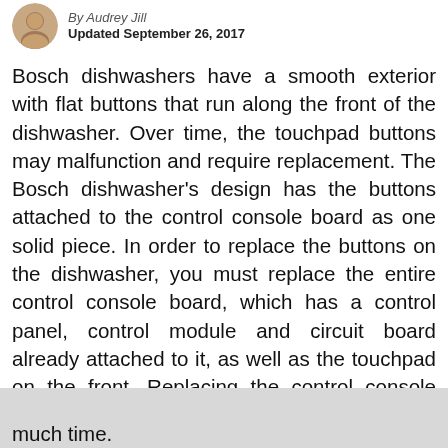Updated September 26, 2017
Bosch dishwashers have a smooth exterior with flat buttons that run along the front of the dishwasher. Over time, the touchpad buttons may malfunction and require replacement. The Bosch dishwasher's design has the buttons attached to the control console board as one solid piece. In order to replace the buttons on the dishwasher, you must replace the entire control console board, which has a control panel, control module and circuit board already attached to it, as well as the touchpad on the front. Replacing the control console board has the benefit of not having to remove the control panel, control module and circuit board when making the repair. The repair does not require much time.